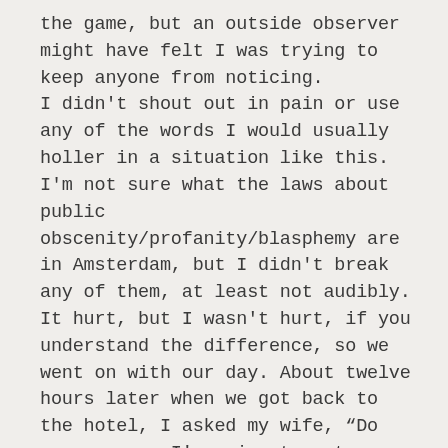the game, but an outside observer might have felt I was trying to keep anyone from noticing.
I didn't shout out in pain or use any of the words I would usually holler in a situation like this. I'm not sure what the laws about public obscenity/profanity/blasphemy are in Amsterdam, but I didn't break any of them, at least not audibly.
It hurt, but I wasn't hurt, if you understand the difference, so we went on with our day. About twelve hours later when we got back to the hotel, I asked my wife, “Do you suppose I'm going to get a bruise?”  Then I lifted my shirt.
She said, “Oh no!”
I guessed correctly that meant yes.
Because of my arthritic neck, I'm lacking